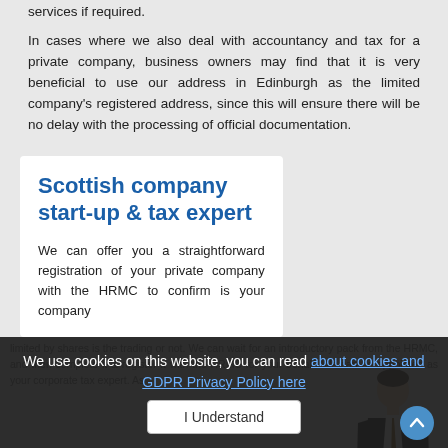services if required.
In cases where we also deal with accountancy and tax for a private company, business owners may find that it is very beneficial to use our address in Edinburgh as the limited company's registered address, since this will ensure there will be no delay with the processing of official documentation.
Scottish company start-up & tax expert
We can offer you a straightforward registration of your private company with the HRMC to confirm is your company
[Figure (illustration): Illustration of a businessman in a dark suit standing upright]
limited by shares is the trading or not. We can wait for an introductory pack from the HRMC, and then complete it & register it with the HRMC for your behalf. We can be appointed as your corporate tax expert. As
We use cookies on this website, you can read about cookies and GDPR Privacy Policy here
I Understand